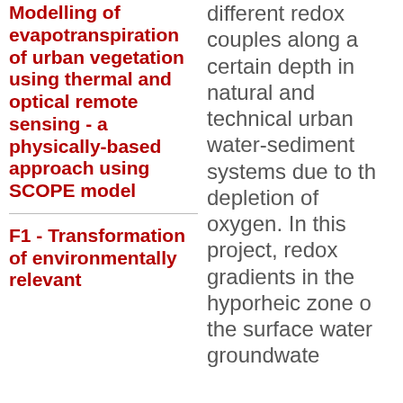Modelling of evapotranspiration of urban vegetation using thermal and optical remote sensing - a physically-based approach using SCOPE model
F1 - Transformation of environmentally relevant
different redox couples along a certain depth in natural and technical urban water-sediment systems due to the depletion of oxygen. In this project, redox gradients in the hyporheic zone of the surface water groundwater